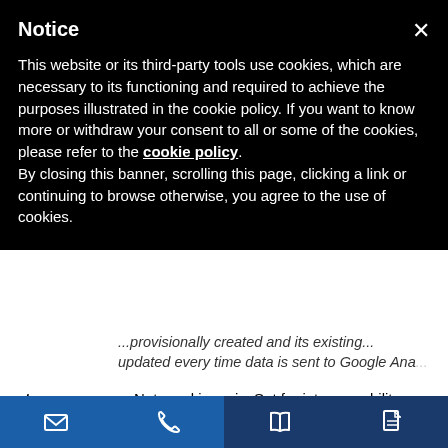Notice
This website or its third-party tools use cookies, which are necessary to its functioning and required to achieve the purposes illustrated in the cookie policy. If you want to know more or withdraw your consent to all or some of the cookies, please refer to the cookie policy. By closing this banner, scrolling this page, clicking a link or continuing to browse otherwise, you agree to the use of cookies.
...provisionally created and its existing... updated every time data is sent to Google Ana...
| Cookie | Description |
| --- | --- |
| _utmc | Not used in ga.js. Set for interoperability with... operated in conjunction with the _utmbcook... was in a new session/visit. |
| _utmz | Stores the traffic source or campaign that exp... site. The cookie is created when the javascript... |
[Figure (other): Bottom navigation bar with four icons: envelope (email), phone, open book, and document/file icon]